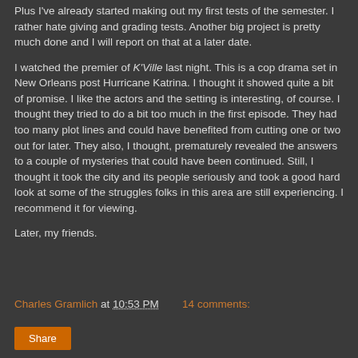Plus I've already started making out my first tests of the semester. I rather hate giving and grading tests. Another big project is pretty much done and I will report on that at a later date.
I watched the premier of K'Ville last night. This is a cop drama set in New Orleans post Hurricane Katrina. I thought it showed quite a bit of promise. I like the actors and the setting is interesting, of course. I thought they tried to do a bit too much in the first episode. They had too many plot lines and could have benefited from cutting one or two out for later. They also, I thought, prematurely revealed the answers to a couple of mysteries that could have been continued. Still, I thought it took the city and its people seriously and took a good hard look at some of the struggles folks in this area are still experiencing. I recommend it for viewing.
Later, my friends.
Charles Gramlich at 10:53 PM   14 comments: